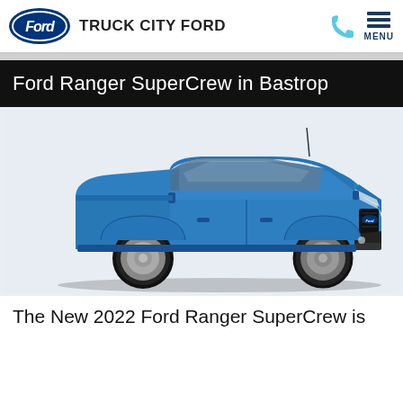TRUCK CITY FORD
Ford Ranger SuperCrew in Bastrop
[Figure (photo): Blue 2022 Ford Ranger SuperCrew pickup truck, front three-quarter view on white/light blue background]
The New 2022 Ford Ranger SuperCrew is